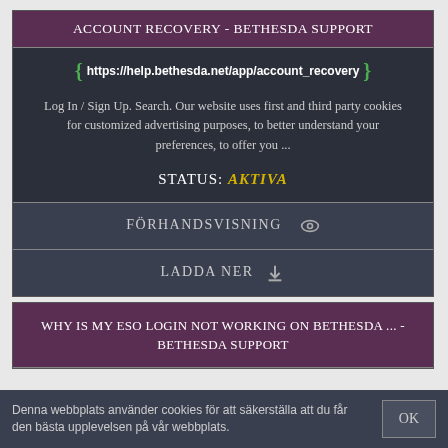ACCOUNT RECOVERY - BETHESDA SUPPORT
https://help.bethesda.net/app/account_recovery
Log In / Sign Up. Search. Our website uses first and third party cookies for customized advertising purposes, to better understand your preferences, to offer you ...
STATUS: AKTIVA
FÖRHANDSVISNING
LADDA NER
WHY IS MY ESO LOGIN NOT WORKING ON BETHESDA ... - BETHESDA SUPPORT
Denna webbplats använder cookies för att säkerställa att du får den bästa upplevelsen på vår webbplats.